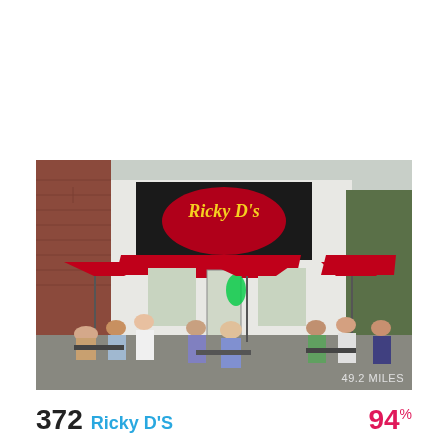[Figure (photo): Exterior photo of Ricky D's ice cream shop. White building with red awnings, a black sign with 'Ricky D's' in cursive neon, red patio umbrellas, and many customers seated at outdoor tables on a patio. Brick building visible on the left. Text overlay '49.2 MILES' in lower right corner.]
372  Ricky D'S    94%